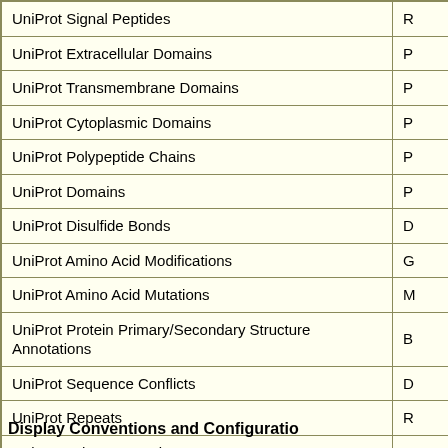|  |  |
| --- | --- |
| UniProt Signal Peptides | R |
| UniProt Extracellular Domains | P |
| UniProt Transmembrane Domains | P |
| UniProt Cytoplasmic Domains | P |
| UniProt Polypeptide Chains | P |
| UniProt Domains | P |
| UniProt Disulfide Bonds | D |
| UniProt Amino Acid Modifications | G |
| UniProt Amino Acid Mutations | M |
| UniProt Protein Primary/Secondary Structure Annotations | B |
| UniProt Sequence Conflicts | D |
| UniProt Repeats | R |
| UniProt Other Annotations | A |
Display Conventions and Configuratio